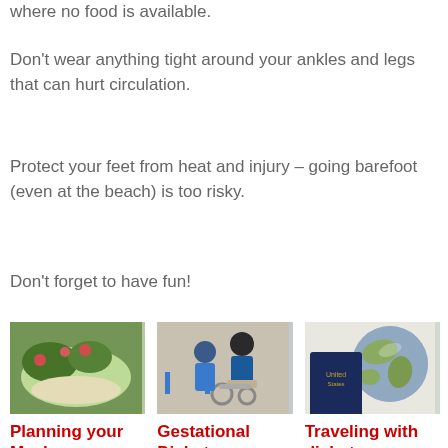where no food is available.
Don't wear anything tight around your ankles and legs that can hurt circulation.
Protect your feet from heat and injury – going barefoot (even at the beach) is too risky.
Don't forget to have fun!
[Figure (photo): Photo of a healthy salad with greens and tomatoes]
Planning your Meals
Eating healthy
[Figure (photo): Photo of a medical professional assisting a patient in a wheelchair]
Gestational Diabetes
Thriftway
[Figure (photo): Photo of a passport and globe representing travel]
Traveling with diabetes